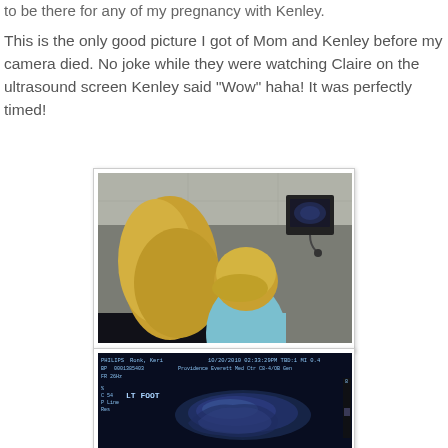to be there for any of my pregnancy with Kenley.
This is the only good picture I got of Mom and Kenley before my camera died. No joke while they were watching Claire on the ultrasound screen Kenley said "Wow" haha! It was perfectly timed!
[Figure (photo): A woman with blonde hair holding a young child (Kenley) with blonde hair dressed in light blue, both facing away toward an ultrasound monitor on the wall in a medical room.]
[Figure (photo): An ultrasound screen image showing 'LT FOOT' label, patient Ronk Keri, dated 10/20/2010, from Providence Everett Med Ctr, showing ultrasound imagery.]